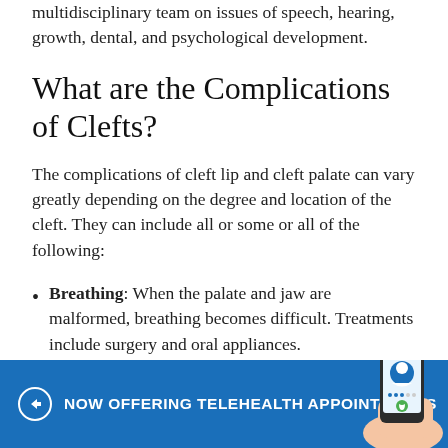follow-up care from members of the multidisciplinary team on issues of speech, hearing, growth, dental, and psychological development.
What are the Complications of Clefts?
The complications of cleft lip and cleft palate can vary greatly depending on the degree and location of the cleft. They can include all or some or all of the following:
Breathing: When the palate and jaw are malformed, breathing becomes difficult. Treatments include surgery and oral appliances.
NOW OFFERING TELEHEALTH APPOINTMENTS